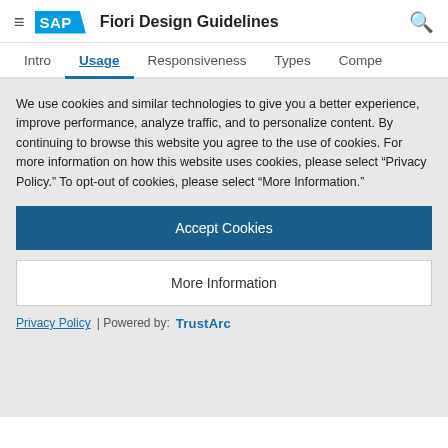SAP Fiori Design Guidelines
Intro | Usage | Responsiveness | Types | Compo
Input
Date picker
Select
We use cookies and similar technologies to give you a better experience, improve performance, analyze traffic, and to personalize content. By continuing to browse this website you agree to the use of cookies. For more information on how this website uses cookies, please select “Privacy Policy.” To opt-out of cookies, please select “More Information.”
Accept Cookies
More Information
Privacy Policy | Powered by: TrustArc
property. Wrapping, value: false).